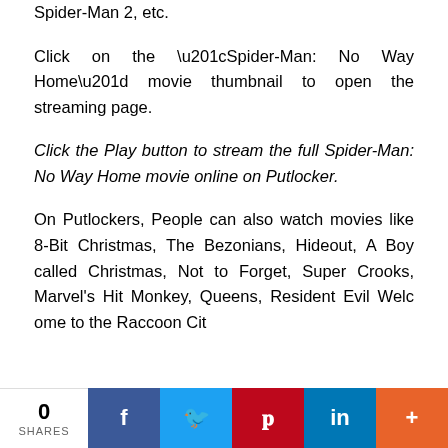Spider-Man 2, etc.
Click on the “Spider-Man: No Way Home” movie thumbnail to open the streaming page.
Click the Play button to stream the full Spider-Man: No Way Home movie online on Putlocker.
On Putlockers, People can also watch movies like 8-Bit Christmas, The Bezonians, Hideout, A Boy called Christmas, Not to Forget, Super Crooks, Marvel’s Hit Monkey, Queens, Resident Evil Welcome to the Raccoon City...